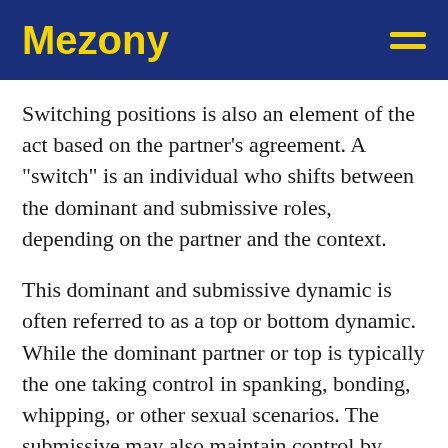Mezony
Switching positions is also an element of the act based on the partner’s agreement. A “switch” is an individual who shifts between the dominant and submissive roles, depending on the partner and the context.
This dominant and submissive dynamic is often referred to as a top or bottom dynamic. While the dominant partner or top is typically the one taking control in spanking, bonding, whipping, or other sexual scenarios. The submissive may also maintain control by